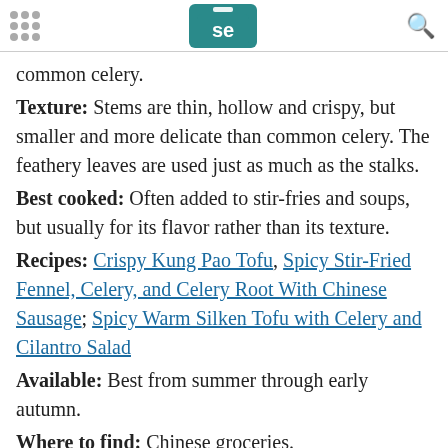Serious Eats logo and navigation header
common celery.
Texture: Stems are thin, hollow and crispy, but smaller and more delicate than common celery. The feathery leaves are used just as much as the stalks.
Best cooked: Often added to stir-fries and soups, but usually for its flavor rather than its texture.
Recipes: Crispy Kung Pao Tofu, Spicy Stir-Fried Fennel, Celery, and Celery Root With Chinese Sausage; Spicy Warm Silken Tofu with Celery and Cilantro Salad
Available: Best from summer through early autumn.
Where to find: Chinese groceries.
[Figure (other): Dotdash Meredith advertisement banner with text 'We help people find answers, solve problems and get inspired.']